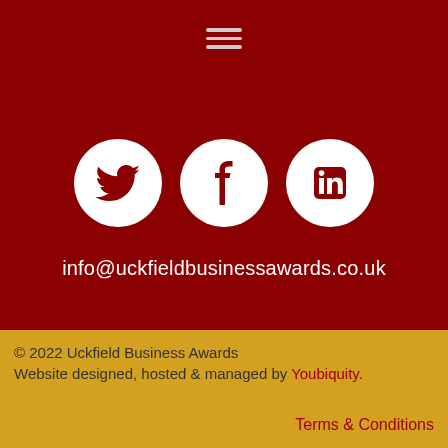[Figure (other): Hamburger menu icon (three horizontal lines) in grey on dark red background]
[Figure (other): Three white circular social media icons: Twitter bird, Facebook f, LinkedIn in, on dark red background]
info@uckfieldbusinessawards.co.uk
© 2022 Uckfield Business Awards
Website designed, hosted & managed by Youbiquity.
Terms & Conditions